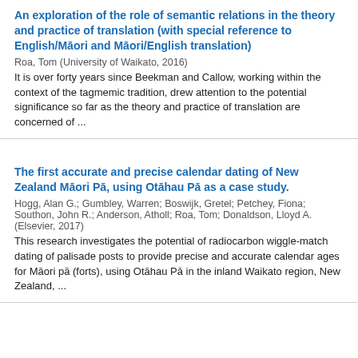An exploration of the role of semantic relations in the theory and practice of translation (with special reference to English/Māori and Māori/English translation)
Roa, Tom (University of Waikato, 2016)
It is over forty years since Beekman and Callow, working within the context of the tagmemic tradition, drew attention to the potential significance so far as the theory and practice of translation are concerned of ...
The first accurate and precise calendar dating of New Zealand Māori Pā, using Otāhau Pā as a case study.
Hogg, Alan G.; Gumbley, Warren; Boswijk, Gretel; Petchey, Fiona; Southon, John R.; Anderson, Atholl; Roa, Tom; Donaldson, Lloyd A. (Elsevier, 2017)
This research investigates the potential of radiocarbon wiggle-match dating of palisade posts to provide precise and accurate calendar ages for Māori pā (forts), using Otāhau Pā in the inland Waikato region, New Zealand, ...